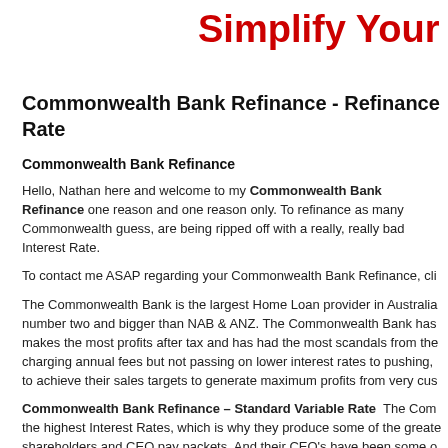Simplify Your
Commonwealth Bank Refinance - Refinance Rate
Commonwealth Bank Refinance
Hello, Nathan here and welcome to my Commonwealth Bank Refinance one reason and one reason only. To refinance as many Commonwealth guess, are being ripped off with a really, really bad Interest Rate.
To contact me ASAP regarding your Commonwealth Bank Refinance, cli
The Commonwealth Bank is the largest Home Loan provider in Australia number two and bigger than NAB & ANZ. The Commonwealth Bank has makes the most profits after tax and has had the most scandals from the charging annual fees but not passing on lower interest rates to pushing, to achieve their sales targets to generate maximum profits from very cus
Commonwealth Bank Refinance – Standard Variable Rate  The Com the highest Interest Rates, which is why they produce some of the greate shareholders and CEO pay packets. And their CEO's have been some o during times of scandal, during the GFC and during times when they put Australia's home owners realise that